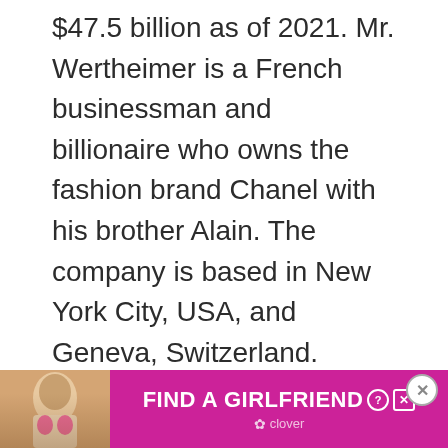$47.5 billion as of 2021. Mr. Wertheimer is a French businessman and billionaire who owns the fashion brand Chanel with his brother Alain. The company is based in New York City, USA, and Geneva, Switzerland. Gerard works with his brother to provide executive leadership for the company and he oversees the watch division of the business.
[Figure (infographic): Advertisement banner with purple/magenta background showing a woman with blonde hair and 'FIND A GIRLFRIEND' text with Clover branding and close/help icons.]